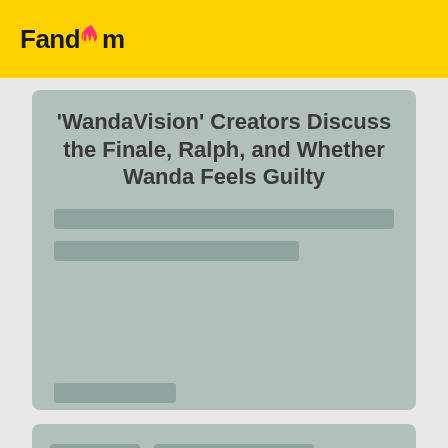Fandom
'WandaVision' Creators Discuss the Finale, Ralph, and Whether Wanda Feels Guilty
[Figure (other): Article card with skeleton loading bars on muted teal background]
[Figure (other): Second article card with skeleton loading bars on muted teal background]